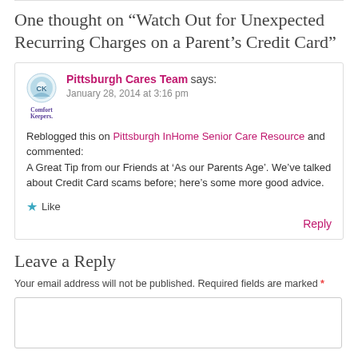One thought on “Watch Out for Unexpected Recurring Charges on a Parent’s Credit Card”
Pittsburgh Cares Team says:
January 28, 2014 at 3:16 pm

Reblogged this on Pittsburgh InHome Senior Care Resource and commented:
A Great Tip from our Friends at ‘As our Parents Age’. We’ve talked about Credit Card scams before; here’s some more good advice.
Leave a Reply
Your email address will not be published. Required fields are marked *